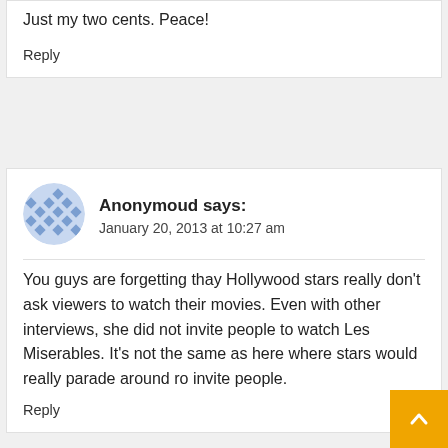Just my two cents. Peace!
Reply
Anonymoud says: January 20, 2013 at 10:27 am
You guys are forgetting thay Hollywood stars really don't ask viewers to watch their movies. Even with other interviews, she did not invite people to watch Les Miserables. It's not the same as here where stars would really parade around ro invite people.
Reply